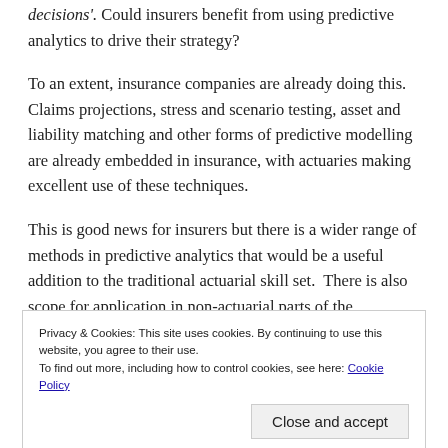'decisions'. Could insurers benefit from using predictive analytics to drive their strategy?
To an extent, insurance companies are already doing this. Claims projections, stress and scenario testing, asset and liability matching and other forms of predictive modelling are already embedded in insurance, with actuaries making excellent use of these techniques.
This is good news for insurers but there is a wider range of methods in predictive analytics that would be a useful addition to the traditional actuarial skill set.  There is also scope for application in non-actuarial parts of the
Privacy & Cookies: This site uses cookies. By continuing to use this website, you agree to their use.
To find out more, including how to control cookies, see here: Cookie Policy
Close and accept
with a supporting role